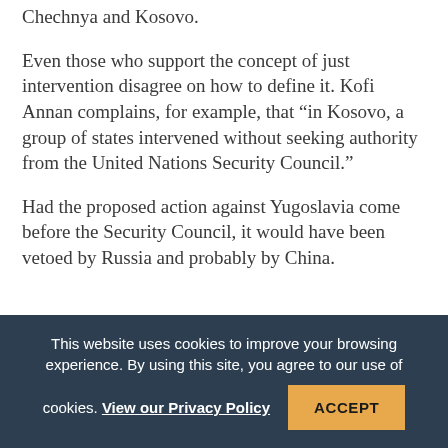Chechnya and Kosovo.
Even those who support the concept of just intervention disagree on how to define it. Kofi Annan complains, for example, that “in Kosovo, a group of states intervened without seeking authority from the United Nations Security Council.”
Had the proposed action against Yugoslavia come before the Security Council, it would have been vetoed by Russia and probably by China.
This website uses cookies to improve your browsing experience. By using this site, you agree to our use of cookies. View our Privacy Policy